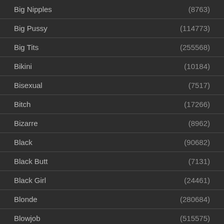Big Nipples (8763)
Big Pussy (114773)
Big Tits (255568)
Bikini (10184)
Bisexual (7517)
Bitch (17266)
Bizarre (8962)
Black (90682)
Black Butt (7131)
Black Girl (24461)
Blonde (280684)
Blowjob (515575)